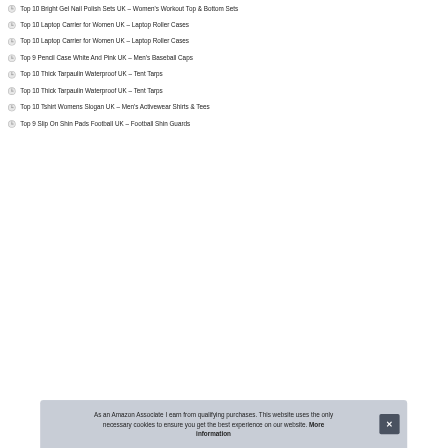Top 10 Bright Gel Nail Polish Sets UK – Women's Workout Top & Bottom Sets
Top 10 Laptop Carrier for Women UK – Laptop Roller Cases
Top 10 Laptop Carrier for Women UK – Laptop Roller Cases
Top 9 Pencil Case White And Pink UK – Men's Baseball Caps
Top 10 Thick Tarpaulin Waterproof UK – Tent Tarps
Top 10 Thick Tarpaulin Waterproof UK – Tent Tarps
Top 10 Tshirt Womens Slogan UK – Men's Activewear Shirts & Tees
Top 9 Slip On Shin Pads Football UK – Football Shin Guards
As an Amazon Associate I earn from qualifying purchases. This website uses the only necessary cookies to ensure you get the best experience on our website. More information